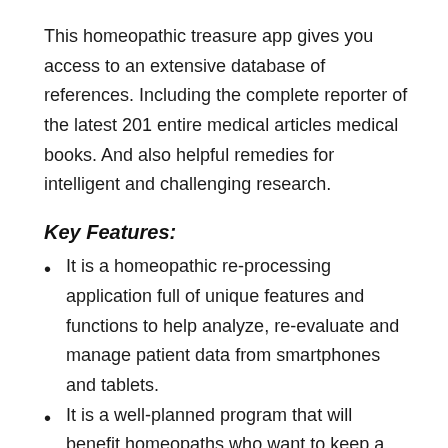This homeopathic treasure app gives you access to an extensive database of references. Including the complete reporter of the latest 201 entire medical articles medical books. And also helpful remedies for intelligent and challenging research.
Key Features:
It is a homeopathic re-processing application full of unique features and functions to help analyze, re-evaluate and manage patient data from smartphones and tablets.
It is a well-planned program that will benefit homeopaths who want to keep a complete record of the diseases that affect their patients, and they have